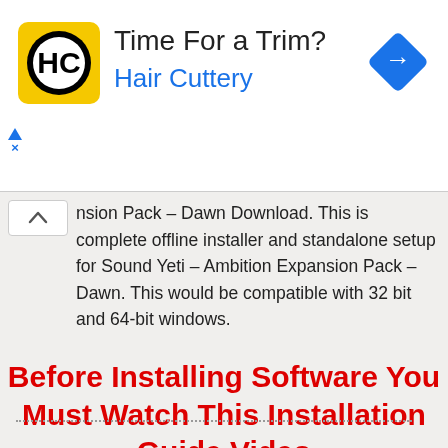[Figure (screenshot): Hair Cuttery advertisement banner with yellow logo showing HC monogram, headline 'Time For a Trim?', brand name 'Hair Cuttery' in blue, and a blue diamond navigation icon on the right. Has ad label triangle and X below on the left.]
nsion Pack – Dawn Download. This is complete offline installer and standalone setup for Sound Yeti – Ambition Expansion Pack – Dawn. This would be compatible with 32 bit and 64-bit windows.
Before Installing Software You Must Watch This Installation Guide Video